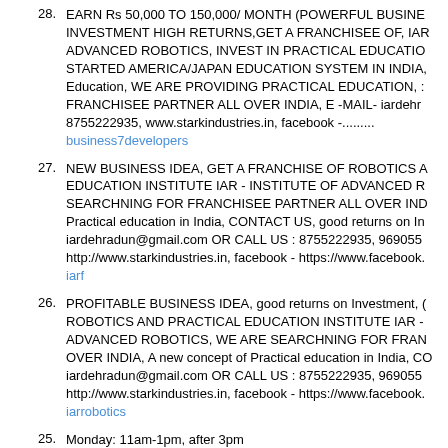28. EARN Rs 50,000 TO 150,000/ MONTH (POWERFUL BUSINESS INVESTMENT HIGH RETURNS,GET A FRANCHISEE OF, IAR - ADVANCED ROBOTICS, INVEST IN PRACTICAL EDUCATION, STARTED AMERICA/JAPAN EDUCATION SYSTEM IN INDIA, Education, WE ARE PROVIDING PRACTICAL EDUCATION, FRANCHISEE PARTNER ALL OVER INDIA, E -MAIL- iardehra 8755222935, www.starkindustries.in, facebook -.......... business7developers
27. NEW BUSINESS IDEA, GET A FRANCHISE OF ROBOTICS AND EDUCATION INSTITUTE IAR - INSTITUTE OF ADVANCED R SEARCHNING FOR FRANCHISEE PARTNER ALL OVER IND Practical education in India, CONTACT US, good returns on In iardehradun@gmail.com OR CALL US : 8755222935, 9690553 http://www.starkindustries.in, facebook - https://www.facebook. iarf
26. PROFITABLE BUSINESS IDEA, good returns on Investment, ROBOTICS AND PRACTICAL EDUCATION INSTITUTE IAR - ADVANCED ROBOTICS, WE ARE SEARCHNING FOR FRAN OVER INDIA, A new concept of Practical education in India, CO iardehradun@gmail.com OR CALL US : 8755222935, 9690553 http://www.starkindustries.in, facebook - https://www.facebook. iarrobotics
25. Monday: 11am-1pm, after 3pm CuteEngineerGirl
24. I always ask for times that they are not available; I usually resp CuteEngineerGirl
23. anytime midweek Shmelissa